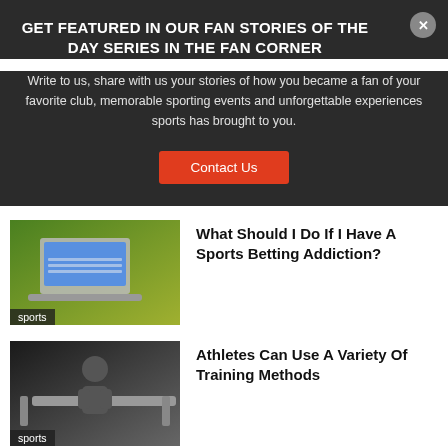GET FEATURED IN OUR FAN STORIES OF THE DAY SERIES IN THE FAN CORNER
Write to us, share with us your stories of how you became a fan of your favorite club, memorable sporting events and unforgettable experiences sports has brought to you.
Contact Us
What Should I Do If I Have A Sports Betting Addiction?
Athletes Can Use A Variety Of Training Methods
The Advantages Of Athletics For Physical And Mental health